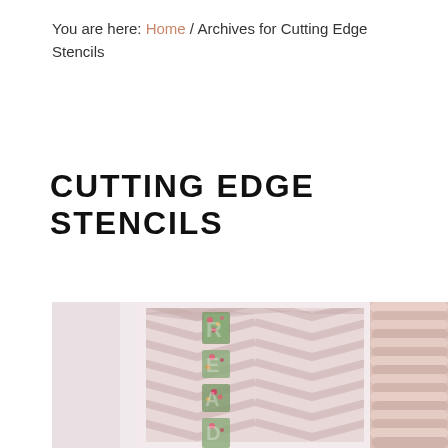You are here: Home / Archives for Cutting Edge Stencils
CUTTING EDGE STENCILS
[Figure (photo): Interior room photo showing a white framed wall with a pink chevron stencil pattern, decorative letters spelling READ with floral fabric, and a ruffled blush pink curtain on the right side.]